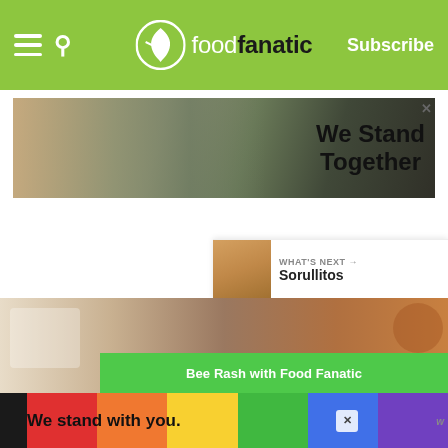Food Fanatic - Subscribe
[Figure (photo): Banner advertisement showing a group of people with arms around each other and text 'We Stand Together']
[Figure (other): Heart/like button showing count of 1, and share button]
[Figure (photo): What's Next card showing Sorullitos]
[Figure (photo): Bottom food photo with green overlay bar reading 'Bee Rash with Food Fanatic']
[Figure (other): Bottom advertisement banner with rainbow colors reading 'We stand with you.']